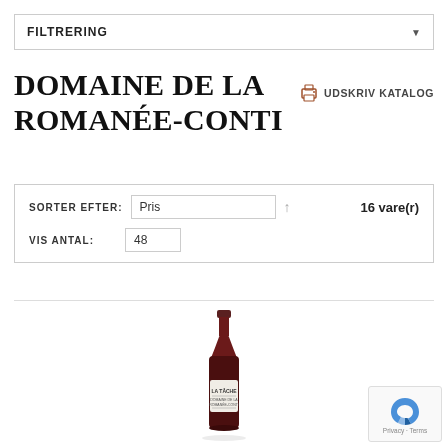FILTRERING
DOMAINE DE LA ROMANÉE-CONTI
UDSKRIV KATALOG
SORTER EFTER: Pris  16 vare(r)
VIS ANTAL: 48
[Figure (photo): A wine bottle labeled 'LA TÂCHE' from Domaine de la Romanée-Conti, with dark red wine and a dark capsule top.]